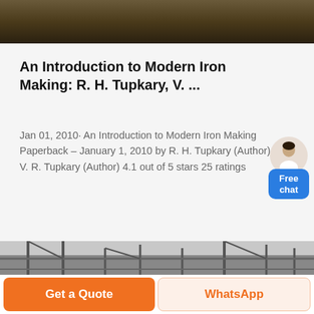[Figure (photo): Dark-toned photo of industrial or construction site, appearing at top of page]
An Introduction to Modern Iron Making: R. H. Tupkary, V. ...
Jan 01, 2010· An Introduction to Modern Iron Making Paperback – January 1, 2010 by R. H. Tupkary (Author), V. R. Tupkary (Author) 4.1 out of 5 stars 25 ratings
[Figure (photo): Black and white photo of industrial steel structure or building framework]
Get a Quote
WhatsApp